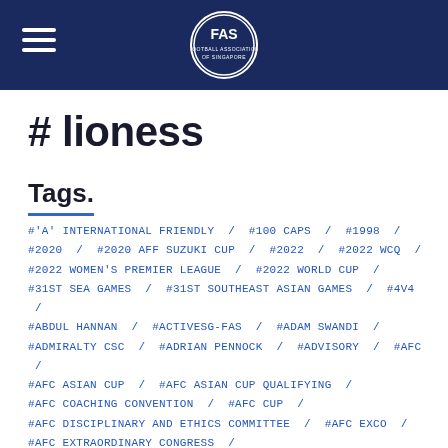FAS Football Association of Singapore logo header
# lioness
Tags.
#'A' INTERNATIONAL FRIENDLY / #100 CAPS / #1998 /
#2020 / #2020 AFF SUZUKI CUP / #2022 / #2022 WCQ /
#2022 WOMEN'S PREMIER LEAGUE / #2022 WORLD CUP /
#31ST SEA GAMES / #31ST SOUTHEAST ASIAN GAMES / #4V4 /
#ABDUL HANNAN / #ACTIVESG-FAS / #ADAM SWANDI /
#ADMIRALTY CSC / #ADRIAN PENNOCK / #ADVISORY / #AFC /
#AFC ASIAN CUP / #AFC ASIAN CUP QUALIFYING /
#AFC COACHING CONVENTION / #AFC CUP /
#AFC DISCIPLINARY AND ETHICS COMMITTEE / #AFC EXCO /
#AFC EXTRAORDINARY CONGRESS /
#AFC FITNESS COACHING CERTIFICATE COURSE /
#AFC FUTSAL / #AFC GRASSROOTS FOOTBALL DAY /
#AFC PRO DIPLOMA / #AFC SCHOLARSHIP / #AFC U16 /
#AFC U16 2022 / #AFC U16 2022 QUALIFIERS /